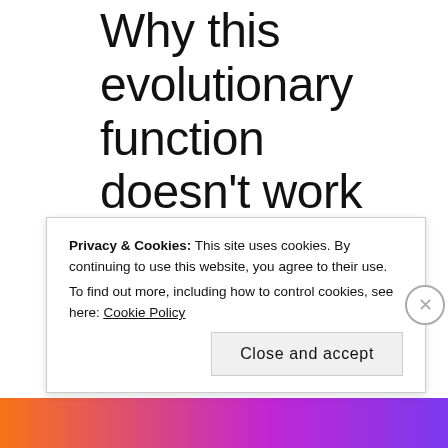Why this evolutionary function doesn't work for modern life
[Figure (screenshot): Tweet by user Effmystuh (@ephrun__) with avatar photo showing a man in a bow tie]
Idk who's coworker needs to hear this..
Privacy & Cookies: This site uses cookies. By continuing to use this website, you agree to their use.
To find out more, including how to control cookies, see here: Cookie Policy
Close and accept